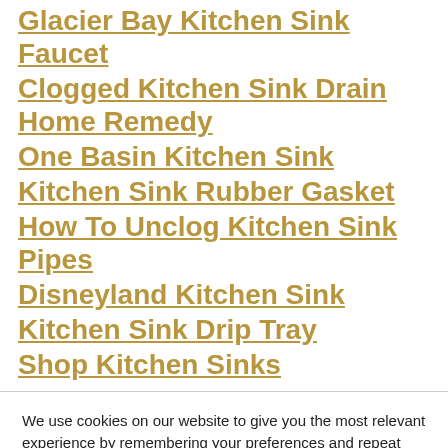Glacier Bay Kitchen Sink Faucet
Clogged Kitchen Sink Drain Home Remedy
One Basin Kitchen Sink
Kitchen Sink Rubber Gasket
How To Unclog Kitchen Sink Pipes
Disneyland Kitchen Sink
Kitchen Sink Drip Tray
Shop Kitchen Sinks
We use cookies on our website to give you the most relevant experience by remembering your preferences and repeat visits. By clicking “Accept All”, you consent to the use of ALL the cookies. However, you may visit “Cookie Settings” to provide a controlled consent.